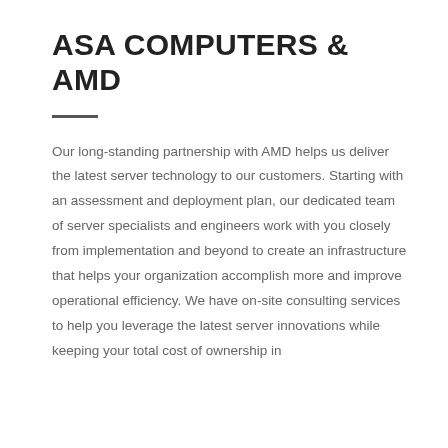ASA COMPUTERS & AMD
Our long-standing partnership with AMD helps us deliver the latest server technology to our customers. Starting with an assessment and deployment plan, our dedicated team of server specialists and engineers work with you closely from implementation and beyond to create an infrastructure that helps your organization accomplish more and improve operational efficiency. We have on-site consulting services to help you leverage the latest server innovations while keeping your total cost of ownership in